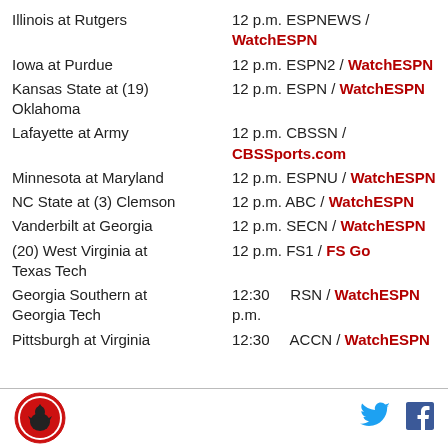Illinois at Rutgers   12 p.m. ESPNEWS / WatchESPN
Iowa at Purdue   12 p.m. ESPN2 / WatchESPN
Kansas State at (19) Oklahoma   12 p.m. ESPN / WatchESPN
Lafayette at Army   12 p.m. CBSSN / CBSSports.com
Minnesota at Maryland   12 p.m. ESPNU / WatchESPN
NC State at (3) Clemson   12 p.m. ABC / WatchESPN
Vanderbilt at Georgia   12 p.m. SECN / WatchESPN
(20) West Virginia at Texas Tech   12 p.m. FS1 / FS Go
Georgia Southern at Georgia Tech   12:30 p.m. RSN / WatchESPN
Pittsburgh at Virginia   12:30   ACCN / WatchESPN
[Figure (logo): Sports logo with rooster/bird emblem, red circle]